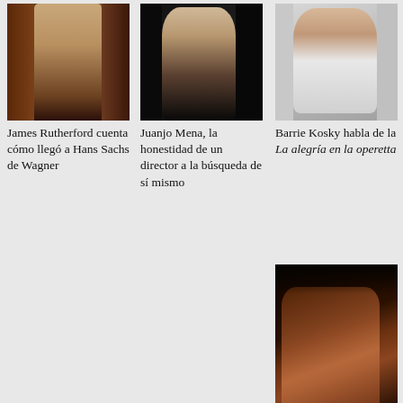[Figure (photo): James Rutherford in medieval costume on stage]
James Rutherford cuenta cómo llegó a Hans Sachs de Wagner
[Figure (photo): Juanjo Mena, conductor portrait against dark background]
Juanjo Mena, la honestidad de un director a la búsqueda de sí mismo
[Figure (photo): Barrie Kosky with glasses in bright setting]
Barrie Kosky habla de la La alegría en la operetta
[Figure (photo): Sir George in dark room, dramatic lighting, wearing rust-colored shirt]
"La verdadera música no cae del cielo": entrevista con Sir George Benjamín